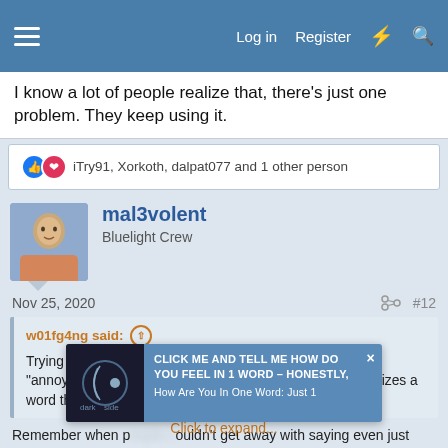Log in  Register
I know a lot of people realize that, there's just one problem. They keep using it.
iTry91, Xorkoth, dalpat077 and 1 other person
mal3volent
Bluelight Crew
Nov 25, 2020
#12
w01fg4ng said:
Trying to color cancel culture as something that is simply "annoying" is short sighted at best and only further stigmatizes a word that doesn't need to be stigmatized.
Remember when people couldn't get away with saying even just one stupid thing in their life without everyone making fun of them for it?
[Figure (screenshot): Ad overlay with dark side image and text: CLICK ME AND TELL ME HOW DO YOU FEEL IN 1 WORD - Honestly, How Are You In One Word: Just 1]
Click to expand...